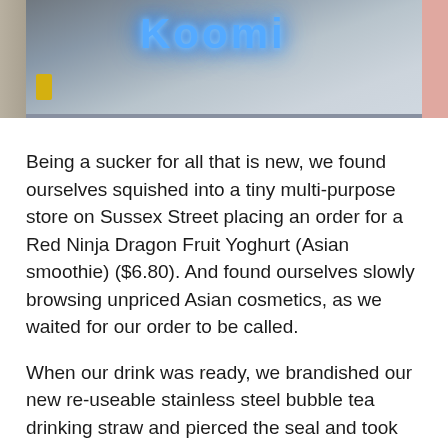[Figure (photo): Storefront photo showing a neon blue sign reading 'Koomi' on a glass window. Left side shows a street sidewalk with a yellow object. Right edge has a pink/salmon wall. Photo taken from outside the store.]
Being a sucker for all that is new, we found ourselves squished into a tiny multi-purpose store on Sussex Street placing an order for a Red Ninja Dragon Fruit Yoghurt (Asian smoothie) ($6.80). And found ourselves slowly browsing unpriced Asian cosmetics, as we waited for our order to be called.
When our drink was ready, we brandished our new re-useable stainless steel bubble tea drinking straw and pierced the seal and took our first sip of